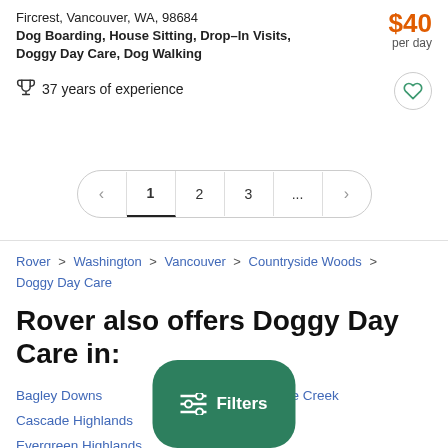Fircrest, Vancouver, WA, 98684
Dog Boarding, House Sitting, Drop-In Visits, Doggy Day Care, Dog Walking
$40 per day
37 years of experience
< 1 2 3 ... >
Rover > Washington > Vancouver > Countryside Woods > Doggy Day Care
Rover also offers Doggy Day Care in:
Bagley Downs
Cascade Highlands
Evergreen Highlands
Fishers Creek
Northwood
Burnt Bridge Creek
od Park
ood
Rose Village
Filters